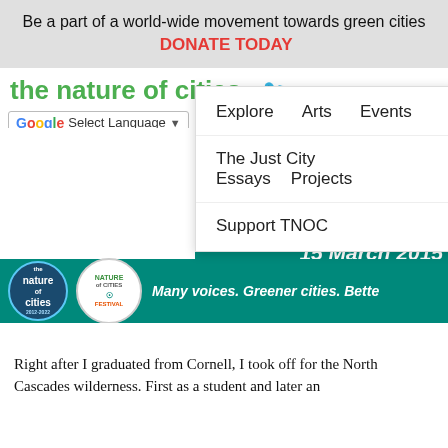Be a part of a world-wide movement towards green cities  DONATE TODAY
the nature of cities
[Figure (screenshot): Website navigation screenshot showing 'the nature of cities' site with Google Translate widget, nav links (Home, About, Search TNOC, Explore, Arts, Events, The Just City Essays, Projects, Support TNOC), dropdown menu open, teal hero section with 'Ext...' text and '15 March 2015', bottom bar with TNOC logo and Nature of Cities Festival logo, tagline 'Many voices. Greener cities. Bette.']
Right after I graduated from Cornell, I took off for the North Cascades wilderness. First as a student and later an